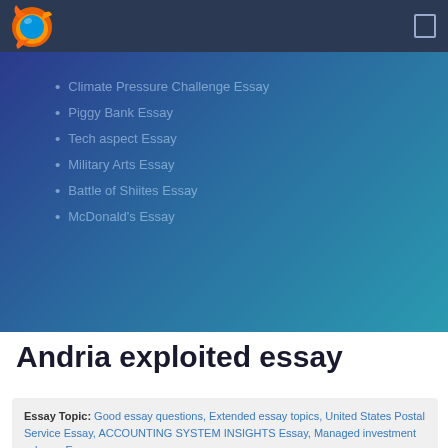Firefox browser header with logo
Climate Pressure Challenge Essay
Piggy Bank Essay
Tech aspect Essay
Military Arts Essay
Battle of Shiites Essay
McDonald's Essay
Andria exploited essay
Essay Topic: Good essay questions, Extended essay topics, United States Postal Service Essay, ACCOUNTING SYSTEM INSIGHTS Essay, Managed investment scheme Essay,
Paper type: Essay
Words: 24  Paragraphs: 58  Pages: 11